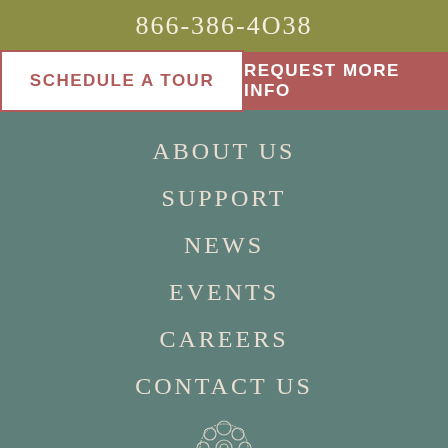866-386-4038
SCHEDULE A TOUR
REQUEST MORE INFO
ABOUT US
SUPPORT
NEWS
EVENTS
CAREERS
CONTACT US
[Figure (logo): Decorative circular floral/tree logo in white outline on teal background]